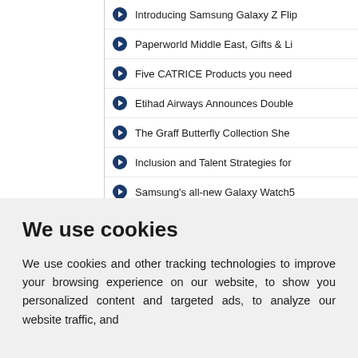Introducing Samsung Galaxy Z Flip
Paperworld Middle East, Gifts & Li
Five CATRICE Products you need
Etihad Airways Announces Double
The Graff Butterfly Collection She
Inclusion and Talent Strategies for
Samsung's all-new Galaxy Watch5
TBO Holidays Announces 'Winner'
Emirates Literature Foundation An
We use cookies
We use cookies and other tracking technologies to improve your browsing experience on our website, to show you personalized content and targeted ads, to analyze our website traffic, and